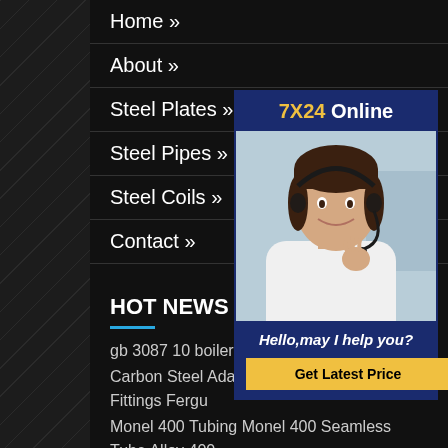Home »
About »
Steel Plates »
Steel Pipes »
Steel Coils »
Contact »
[Figure (photo): Customer service representative wearing a headset with microphone, smiling. Overlay banner shows '7X24 Online' at top and 'Hello, may I help you?' with 'Get Latest Price' button at bottom.]
HOT NEWS
gb 3087 10 boiler steel pipe
Carbon Steel Adapters Inserts Pipe Fittings Fergu
Monel 400 Tubing Monel 400 Seamless Tube Alloy 400
b s a pipe industries ludhiana
manufacturer of banjo